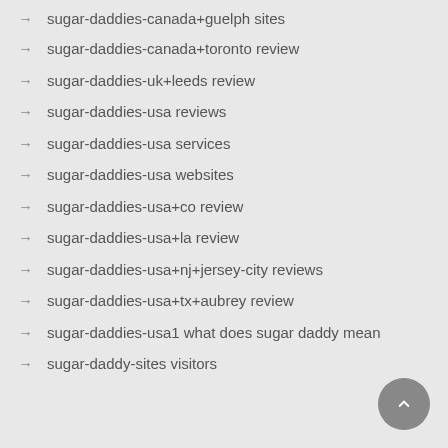sugar-daddies-canada+guelph sites (truncated at top)
→ sugar-daddies-canada+toronto review
→ sugar-daddies-uk+leeds review
→ sugar-daddies-usa reviews
→ sugar-daddies-usa services
→ sugar-daddies-usa websites
→ sugar-daddies-usa+co review
→ sugar-daddies-usa+la review
→ sugar-daddies-usa+nj+jersey-city reviews
→ sugar-daddies-usa+tx+aubrey review
→ sugar-daddies-usa1 what does sugar daddy mean
→ sugar-daddy-sites visitors